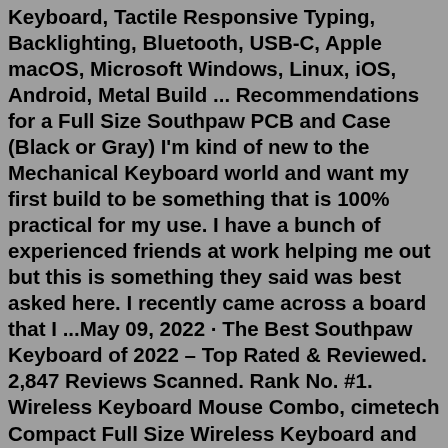Keyboard, Tactile Responsive Typing, Backlighting, Bluetooth, USB-C, Apple macOS, Microsoft Windows, Linux, iOS, Android, Metal Build ... Recommendations for a Full Size Southpaw PCB and Case (Black or Gray) I'm kind of new to the Mechanical Keyboard world and want my first build to be something that is 100% practical for my use. I have a bunch of experienced friends at work helping me out but this is something they said was best asked here. I recently came across a board that I ...May 09, 2022 · The Best Southpaw Keyboard of 2022 – Top Rated & Reviewed. 2,847 Reviews Scanned. Rank No. #1. Wireless Keyboard Mouse Combo, cimetech Compact Full Size Wireless Keyboard and Mouse Set 2.4G Ultra-Thin Sleek Design for Windows, Computer, Desktop, PC, Notebook, Laptop. 🔲Slim and Ergonomic Design🔲 The slim keyboard has a tilt angle for the ... MX Mechanical keyboards stay powered up to 15 days on a full charge – or up to 10 months with backlighting turned off 20. Just one quick 15 minute